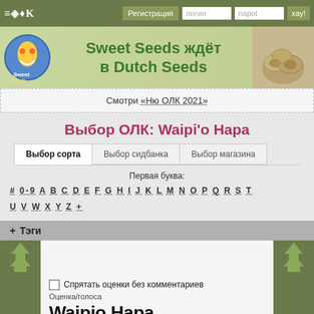≡◈♦К  Регистрация  логин  пароль  хау!
[Figure (illustration): Sweet Seeds banner with logo and seeds image. Text: Sweet Seeds ждёт в Dutch Seeds]
Смотри «Ню ОЛК 2021»
Выбор ОЛК: Waipi'o Нара
Выбор сорта   Выбор сидбанка   Выбор магазина
Первая буква:
# 0-9 A B C D E F G H I J K L M N O P Q R S T
U V W X Y Z +
+ Тэги
Спрятать оценки без комментариев
Оценка/голоса
Waipio Нара